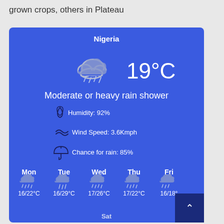grown crops, others in Plateau
[Figure (infographic): Weather widget for Nigeria showing 19°C, Moderate or heavy rain shower, Humidity 92%, Wind Speed 3.6Kmph, Chance for rain 85%, and 5-day forecast: Mon 16/22°C, Tue 16/29°C, Wed 17/26°C, Thu 17/22°C, Fri 16/18°C, Sat (partial)]